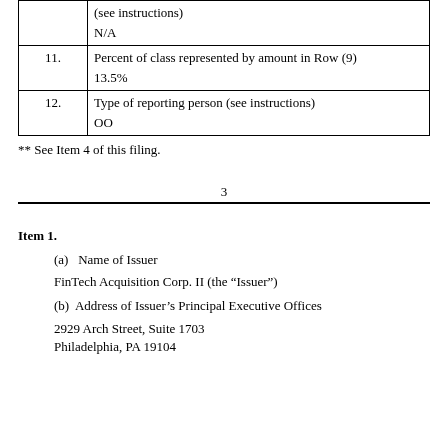| Row # | Content |
| --- | --- |
|  | (see instructions)

N/A |
| 11. | Percent of class represented by amount in Row (9)

13.5% |
| 12. | Type of reporting person (see instructions)

OO |
** See Item 4 of this filing.
3
Item 1.
(a)   Name of Issuer
FinTech Acquisition Corp. II (the “Issuer”)
(b)   Address of Issuer’s Principal Executive Offices
2929 Arch Street, Suite 1703
Philadelphia, PA 19104